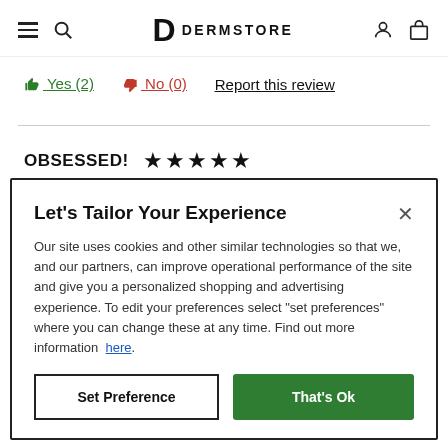DERMSTORE
Yes (2)   No (0)   Report this review
OBSESSED! ★★★★★
Let's Tailor Your Experience
Our site uses cookies and other similar technologies so that we, and our partners, can improve operational performance of the site and give you a personalized shopping and advertising experience. To edit your preferences select "set preferences" where you can change these at any time. Find out more information here.
Set Preference   That's Ok